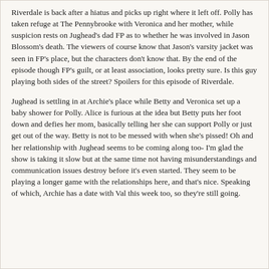Riverdale is back after a hiatus and picks up right where it left off. Polly has taken refuge at The Pennybrooke with Veronica and her mother, while suspicion rests on Jughead's dad FP as to whether he was involved in Jason Blossom's death. The viewers of course know that Jason's varsity jacket was seen in FP's place, but the characters don't know that. By the end of the episode though FP's guilt, or at least association, looks pretty sure. Is this guy playing both sides of the street? Spoilers for this episode of Riverdale.
Jughead is settling in at Archie's place while Betty and Veronica set up a baby shower for Polly. Alice is furious at the idea but Betty puts her foot down and defies her mom, basically telling her she can support Polly or just get out of the way. Betty is not to be messed with when she's pissed! Oh and her relationship with Jughead seems to be coming along too- I'm glad the show is taking it slow but at the same time not having misunderstandings and communication issues destroy before it's even started. They seem to be playing a longer game with the relationships here, and that's nice. Speaking of which, Archie has a date with Val this week too, so they're still going.